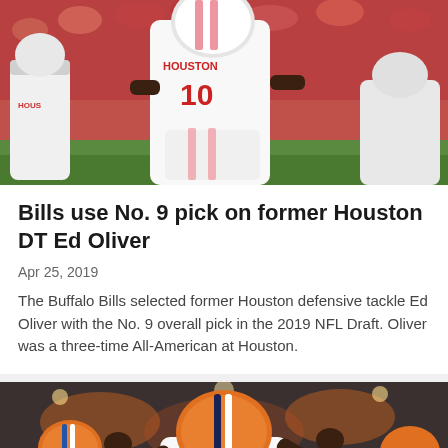[Figure (photo): Football player wearing Houston #10 white jersey running on field, with teammates in background and red crowd]
Bills use No. 9 pick on former Houston DT Ed Oliver
Apr 25, 2019
The Buffalo Bills selected former Houston defensive tackle Ed Oliver with the No. 9 overall pick in the 2019 NFL Draft. Oliver was a three-time All-American at Houston.
[Figure (photo): Football player in orange Clemson helmet and white uniform with arms raised on a dark field]